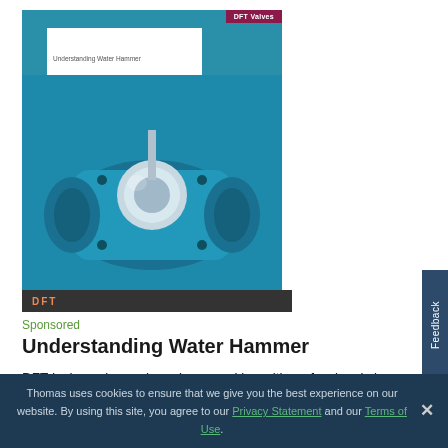[Figure (photo): DFT Valves promotional image showing a blue industrial check valve with 'Understanding Water Hammer' document overlay and dark footer bar with DFT logo]
Sponsored
Understanding Water Hammer
DFT Inc's engineers have been working with professionals in a range of industries for decades, helping to identify and resolve the underlying causes of water hammer. In this eBook you will learn about many of these common causes, how they impact your system and some of the basic
Thomas uses cookies to ensure that we give you the best experience on our website. By using this site, you agree to our Privacy Statement and our Terms of Use.